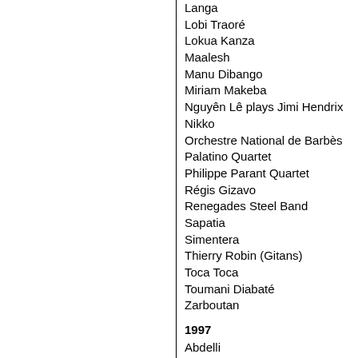Langa
Lobi Traoré
Lokua Kanza
Maalesh
Manu Dibango
Miriam Makeba
Nguyên Lê plays Jimi Hendrix
Nikko
Orchestre National de Barbès
Palatino Quartet
Philippe Parant Quartet
Régis Gizavo
Renegades Steel Band
Sapatia
Simentera
Thierry Robin (Gitans)
Toca Toca
Toumani Diabaté
Zarboutan
1997
Abdelli
Ali Farka Touré
Cheb Mami
Claude Barthélémy Quartet
Compay Segundo
D'Gary
Dédé Saint-Prix
Dina Tavares
El Meya
Féo Gasy
Henri Dikongué
Horizon
Jef Sicard & Big Band du Conservatoire d'Ang
Kan'nida
La Familia Valera Miranda
Mandinka
Orchestre National de Barbès